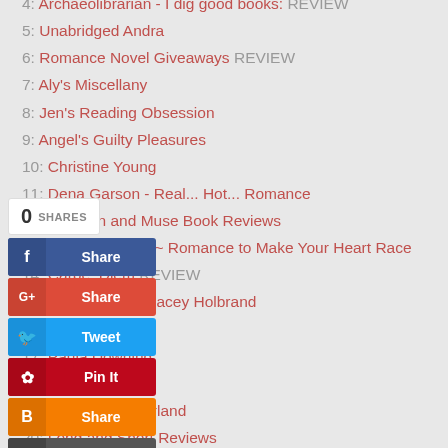4: Archaeolibrarian - I dig good books: REVIEW
5: Unabridged Andra
6: Romance Novel Giveaways REVIEW
7: Aly's Miscellany
8: Jen's Reading Obsession
9: Angel's Guilty Pleasures
10: Christine Young
11: Dena Garson - Real... Hot... Romance
12: The Pen and Muse Book Reviews
13: Wendi Zwaduk ~ Romance to Make Your Heart Race
14: Carpe_Diem REVIEW
15: Blog of author Jacey Holbrand
16: Danita Minnis
17: Paula Downing
18: Cathy Richards
19: Reader Wonderland
20: Long and Short Reviews
21: It's Raining Books
22: Behind Closed Doors
23: Reader Girls